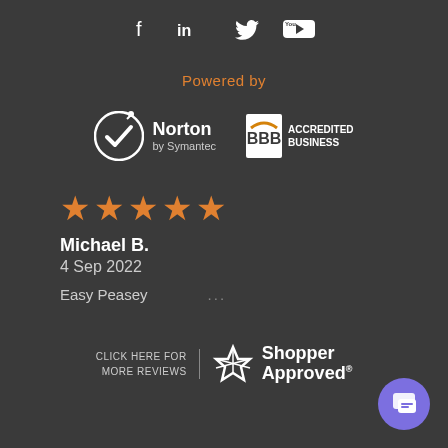[Figure (illustration): Social media icons: Facebook, LinkedIn, Twitter, YouTube]
Powered by
[Figure (logo): Norton by Symantec logo with checkmark]
[Figure (logo): BBB Accredited Business logo]
[Figure (illustration): Five orange stars rating]
Michael B.
4 Sep 2022
Easy Peasey    ...
[Figure (logo): CLICK HERE FOR MORE REVIEWS - Shopper Approved logo]